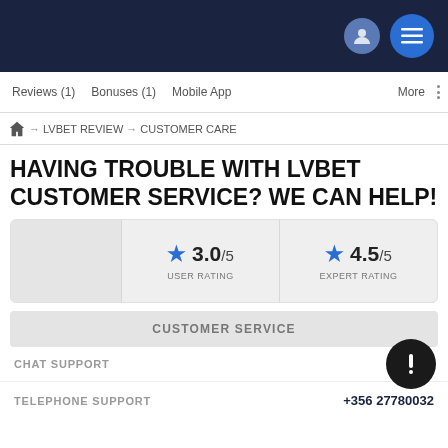Navigation bar with user icon and menu button
Reviews (1)  Bonuses (1)  Mobile App  More
🏠 → LVBET REVIEW → CUSTOMER CARE
HAVING TROUBLE WITH LVBET CUSTOMER SERVICE? WE CAN HELP!
|  | USER RATING | EXPERT RATING |
| --- | --- | --- |
|  | ★ 3.0/5 | ★ 4.5/5 |
CUSTOMER SERVICE
CHAT SUPPORT
TELEPHONE SUPPORT  +356 27780032